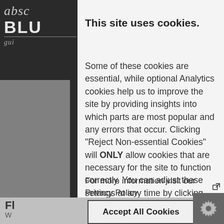[Figure (logo): Absolute Blueprint logo in top-left dark area with stylized italic text 'abso', bold 'BLU', and italic 'gui' with decorative lines]
This site uses cookies.
Some of these cookies are essential, while optional Analytics cookies help us to improve the site by providing insights into which parts are most popular and any errors that occur. Clicking "Reject Non-essential Cookies" will ONLY allow cookies that are necessary for the site to function correctly. You can adjust these settings at any time by clicking the icon in the bottom right corner of your screen.
For more information visit our Privacy Policy
Accept All Cookies